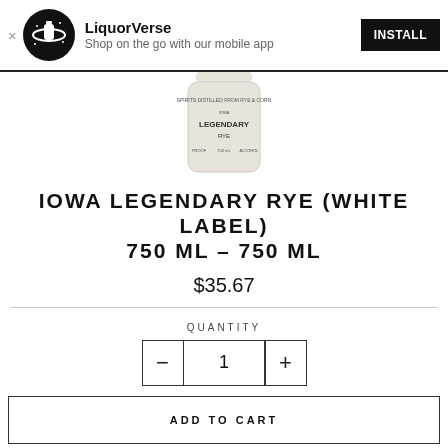LiquorVerse – Shop on the go with our mobile app – INSTALL
[Figure (photo): Partial view of Iowa Legendary Rye White Label 750ml bottle, clear glass, label visible]
IOWA LEGENDARY RYE (WHITE LABEL) 750 ML – 750 ML
$35.67
QUANTITY
− 1 +
ADD TO CART